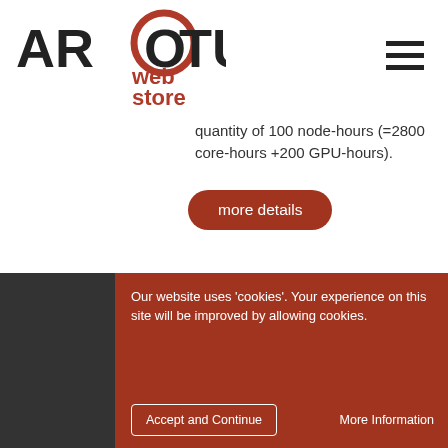[Figure (logo): ARCTUR web store logo with red circle around the 'O' and red 'web store' text]
quantity of 100 node-hours (=2800 core-hours +200 GPU-hours).
more details
You pay:  600.00€
qty: 1
add to cart
Our website uses 'cookies'. Your experience on this site will be improved by allowing cookies.
Accept and Continue
More Information